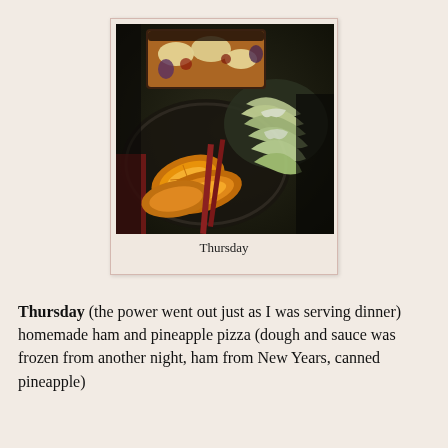[Figure (photo): A polaroid-style photo showing a plate with orange slices, shredded lettuce/cabbage salad, and pieces of pizza on a dark decorative plate. Below the photo is the caption 'Thursday'.]
Thursday
Thursday (the power went out just as I was serving dinner)
homemade ham and pineapple pizza (dough and sauce was frozen from another night, ham from New Years, canned pineapple)